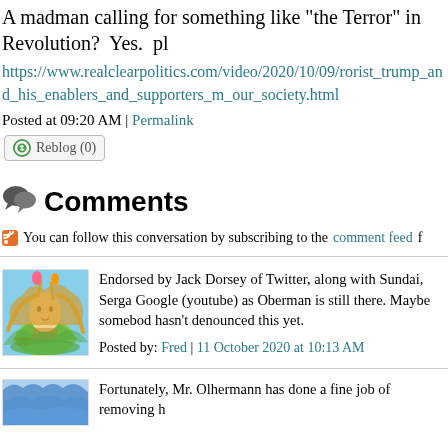A madman calling for something like "the Terror" in Revolution?  Yes.  pl
https://www.realclearpolitics.com/video/2020/10/09/rorist_trump_and_his_enablers_and_supporters_m_our_society.html
Posted at 09:20 AM | Permalink
Reblog (0)
Comments
You can follow this conversation by subscribing to the comment feed f
Endorsed by Jack Dorsey of Twitter, along with Sundai, Serga Google (youtube) as Oberman is still there. Maybe somebod hasn't denounced this yet.

Posted by: Fred | 11 October 2020 at 10:13 AM
Fortunately, Mr. Olhermann has done a fine job of removing h